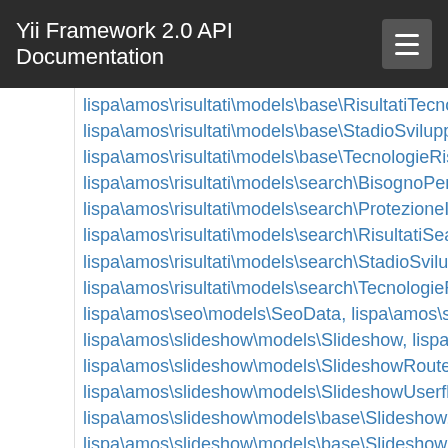Yii Framework 2.0 API Documentation
lispa\amos\risultati\models\base\RisultatiTecnologie
lispa\amos\risultati\models\base\StadioSviluppoRis
lispa\amos\risultati\models\base\TecnologieRisulta
lispa\amos\risultati\models\search\BisognoPerSvil
lispa\amos\risultati\models\search\ProtezioneInnov
lispa\amos\risultati\models\search\RisultatiSearch,
lispa\amos\risultati\models\search\StadioSviluppoR
lispa\amos\risultati\models\search\TecnologieRisult
lispa\amos\seo\models\SeoData, lispa\amos\seo\m
lispa\amos\slideshow\models\Slideshow, lispa\amo
lispa\amos\slideshow\models\SlideshowRoute,
lispa\amos\slideshow\models\SlideshowUserflag,
lispa\amos\slideshow\models\base\Slideshow,
lispa\amos\slideshow\models\base\SlideshowPage
lispa\amos\slideshow\models\base\SlideshowRout
lispa\amos\slideshow\models\base\SlideshowUser
lispa\amos\slideshow\models\search\SlideshowPag
lispa\amos\slideshow\models\search\SlideshowRo
lispa\amos\slideshow\models\search\SlideshowSea
lispa\amos\socialauth\models\SocialAuthServices